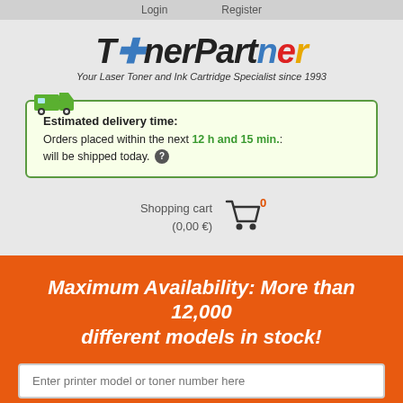Login   Register
[Figure (logo): TonerPartner logo with Finnish cross in the T, colorful letters for 'tner', tagline: Your Laser Toner and Ink Cartridge Specialist since 1993]
Estimated delivery time: Orders placed within the next 12 h and 15 min.: will be shipped today.
Shopping cart (0,00 €)
Maximum Availability: More than 12,000 different models in stock!
Enter printer model or toner number here